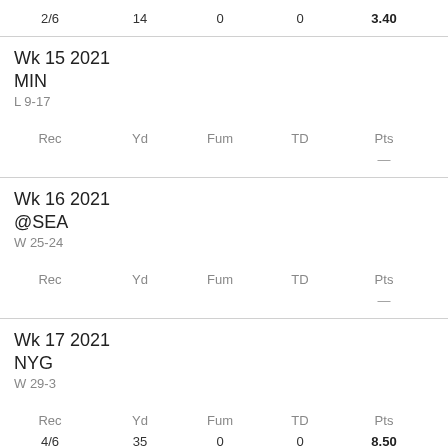|  | Rec | Yd | Fum | TD | Pts |
| --- | --- | --- | --- | --- | --- |
| 2/6 | 14 | 0 | 0 | 3.40 |
| Wk 15 2021 MIN
L 9-17 |  |  |  |  | — |
| Wk 16 2021 @SEA
W 25-24 |  |  |  |  | — |
| Wk 17 2021 NYG
W 29-3 | 4/6 | 35 | 0 | 0 | 8.50 |